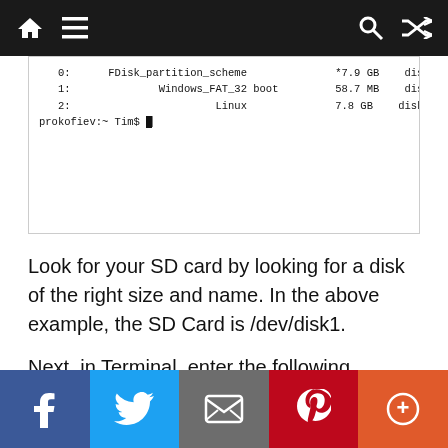Navigation bar with home, menu, search, and shuffle icons
[Figure (screenshot): Terminal window showing diskutil list output with partition entries: 0: FDisk_partition_scheme *7.9 GB disk1, 1: Windows_FAT_32 boot 58.7 MB disk1s1, 2: Linux 7.8 GB disk1s2, and prompt prokofiev:~ Tim$]
Look for your SD card by looking for a disk of the right size and name. In the above example, the SD Card is /dev/disk1.
Next, in Terminal, enter the following command to create a disc image (.dmg) of your SD Card in your home directory.
[Figure (screenshot): Terminal code box (partially visible at bottom)]